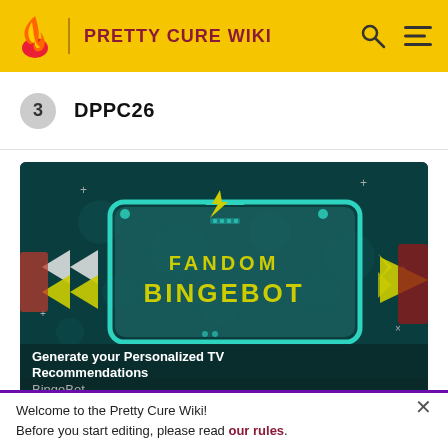PRETTY CURE WIKI
3  DPPC26
[Figure (screenshot): Fandom BingeBot advertisement banner with teal gaming-style frame, yellow lightning bolt, fast-forward arrows. Text: FANDOM BINGEBOT. Caption below: Generate your Personalized TV Recommendations. BingeBot]
Welcome to the Pretty Cure Wiki!
Before you start editing, please read our rules.